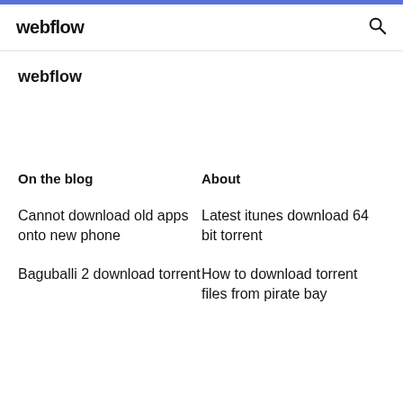webflow
webflow
On the blog
About
Cannot download old apps onto new phone
Latest itunes download 64 bit torrent
Baguballi 2 download torrent
How to download torrent files from pirate bay